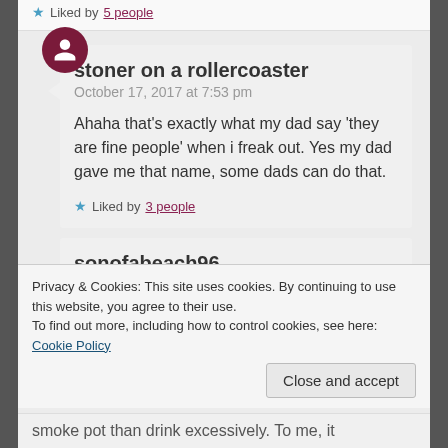Liked by 5 people
stoner on a rollercoaster
October 17, 2017 at 7:53 pm
Ahaha that's exactly what my dad say 'they are fine people' when i freak out. Yes my dad gave me that name, some dads can do that.
Liked by 3 people
sonofabeach96
October 17, 2017 at 3:14
Privacy & Cookies: This site uses cookies. By continuing to use this website, you agree to their use. To find out more, including how to control cookies, see here: Cookie Policy
Close and accept
smoke pot than drink excessively. To me, it